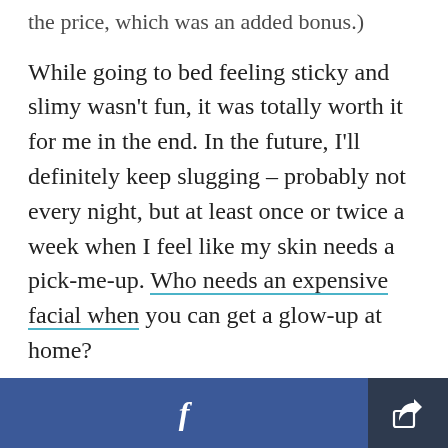the price, which was an added bonus.)
While going to bed feeling sticky and slimy wasn't fun, it was totally worth it for me in the end. In the future, I'll definitely keep slugging – probably not every night, but at least once or twice a week when I feel like my skin needs a pick-me-up. Who needs an expensive facial when you can get a glow-up at home?
Image Source: POPSUGAR Photography / Sarah Felbin